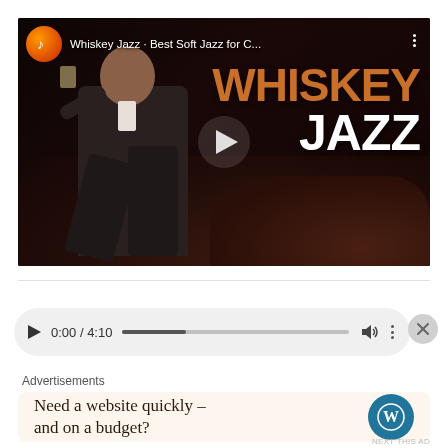[Figure (screenshot): YouTube video thumbnail showing a man in a suit sitting on a dark leather sofa holding a glass. Channel name 'Whiskey Jazz · Best Soft Jazz for C...' with orange/red channel icon. Large text 'WHISKEY JAZZ' in brown/white on the right side. Play button in center.]
[Figure (screenshot): Audio/video player bar showing play button, time display '0:00 / 4:10', progress bar, volume icon, and more options dots. Close X button on the right.]
Advertisements
[Figure (screenshot): Advertisement card with beige background showing WordPress logo and text 'Need a website quickly – and on a budget?']